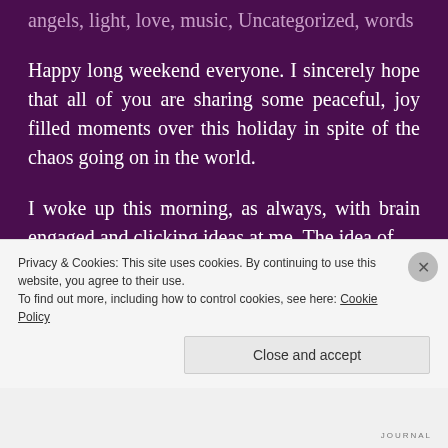angels, light, love, music, Uncategorized, words
Happy long weekend everyone. I sincerely hope that all of you are sharing some peaceful, joy filled moments over this holiday in spite of the chaos going on in the world.
I woke up this morning, as always, with brain engaged and clicking ideas at me. The idea of
Privacy & Cookies: This site uses cookies. By continuing to use this website, you agree to their use. To find out more, including how to control cookies, see here: Cookie Policy
Close and accept